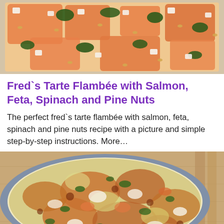[Figure (photo): Top-down photo of a tarte flambée with salmon, feta, spinach and pine nuts on a baking tray]
Fred`s Tarte Flambée with Salmon, Feta, Spinach and Pine Nuts
The perfect fred`s tarte flambée with salmon, feta, spinach and pine nuts recipe with a picture and simple step-by-step instructions. More…
[Figure (photo): A round baking dish on a wooden board containing a baked casserole with melted cheese, spinach, and salmon pieces, golden-browned on top]